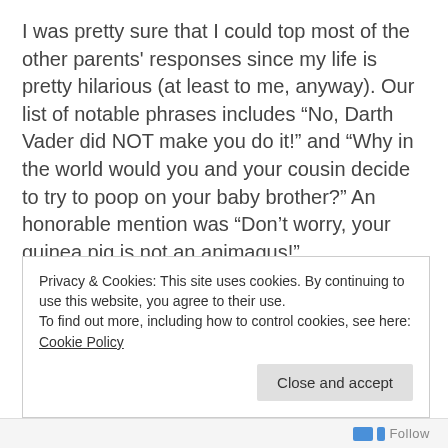I was pretty sure that I could top most of the other parents' responses since my life is pretty hilarious (at least to me, anyway). Our list of notable phrases includes “No, Darth Vader did NOT make you do it!” and “Why in the world would you and your cousin decide to try to poop on your baby brother?” An honorable mention was “Don’t worry, your guinea pig is not an animagus!”
Privacy & Cookies: This site uses cookies. By continuing to use this website, you agree to their use.
To find out more, including how to control cookies, see here: Cookie Policy
Close and accept